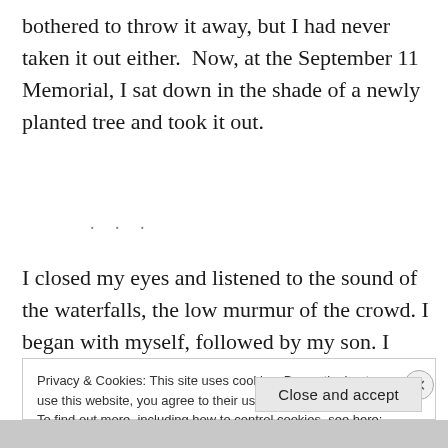bothered to throw it away, but I had never taken it out either.  Now, at the September 11 Memorial, I sat down in the shade of a newly planted tree and took it out.
I closed my eyes and listened to the sound of the waterfalls, the low murmur of the crowd. I began with myself, followed by my son. I held, both in my thoughts
Privacy & Cookies: This site uses cookies. By continuing to use this website, you agree to their use.
To find out more, including how to control cookies, see here: Cookie Policy
Close and accept